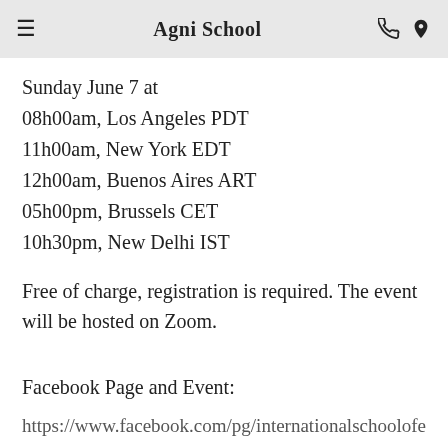Agni School
Sunday June 7 at
08h00am, Los Angeles PDT
11h00am, New York EDT
12h00am, Buenos Aires ART
05h00pm, Brussels CET
10h30pm, New Delhi IST
Free of charge, registration is required. The event will be hosted on Zoom.
Facebook Page and Event:
https://www.facebook.com/pg/internationalschoolofesotericsciences/events/